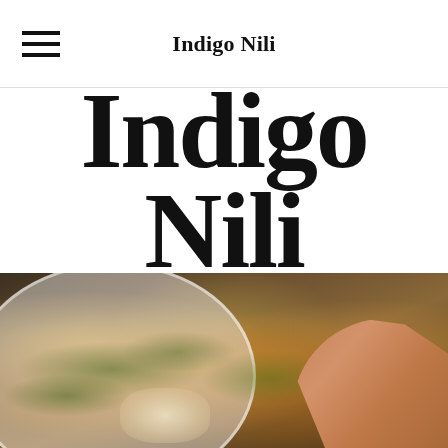Indigo Nili
Indigo Nili
[Figure (photo): Close-up food photo of baked bread rolls or biscuits topped with herbs (possibly rosemary or thyme) on a white plate, with a hand reaching in from the right side. Rustic wooden table background.]